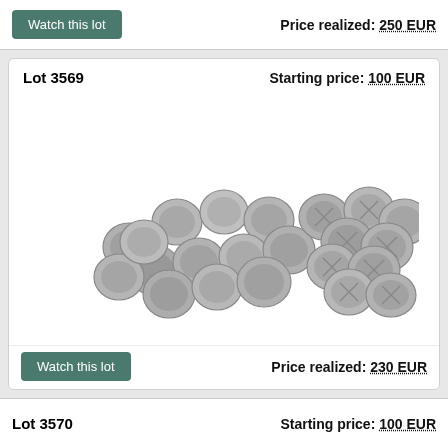Watch this lot
Price realized: 250 EUR
Lot 3569
Starting price: 100 EUR
[Figure (photo): Photograph of a lot of ancient AR Tetrobols coins from Thrace, Byzantion, showing approximately 30 small silver coins spread across a white background in two groups]
Ancient coins in lots - Greek / Hellenistic coinage - An interesting lot of AR Tetrobols of Thrace , Byzantion (c. 320...
Watch this lot
Price realized: 230 EUR
Lot 3570
Starting price: 100 EUR